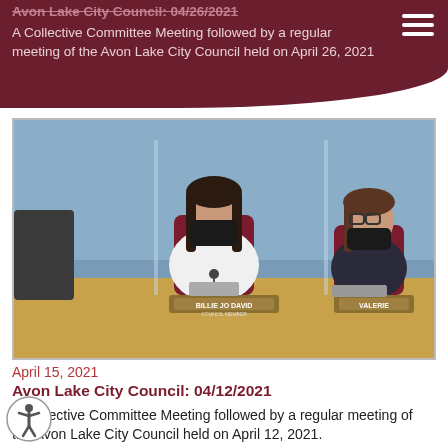Avon Lake City Council: 04/26/2021
A Collective Committee Meeting followed by a regular meeting of the Avon Lake City Council held on April 26, 2021
[Figure (photo): Two women wearing black face masks seated at a council dais. The nameplate in front reads 'BILLIE JO DAVID'. A second nameplate partially visible reads 'VALERIE'. Both women are seated in maroon chairs. The background is a light blue wall with a wooden panel dais.]
April 15, 2021
Avon Lake City Council: 04/12/2021
A Collective Committee Meeting followed by a regular meeting of the Avon Lake City Council held on April 12, 2021.